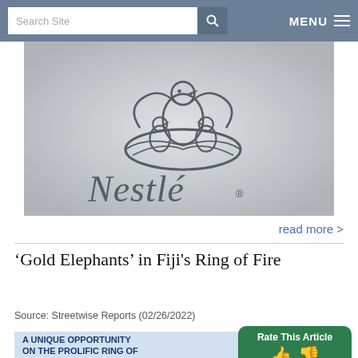Search Site | MENU
[Figure (photo): Close-up photo of the Nestlé logo (bird nest with parent and chicks) embossed or printed on a light grey surface, with the Nestlé wordmark below.]
read more >
'Gold Elephants' in Fiji's Ring of Fire
Source: Streetwise Reports (02/26/2022)
[Figure (infographic): Promotional infographic for a mining opportunity: 'A UNIQUE OPPORTUNITY ON THE PROLIFIC RING OF [FIRE]' with a map showing 50Moz Au location in the Pacific Ring of Fire region near Fiji.]